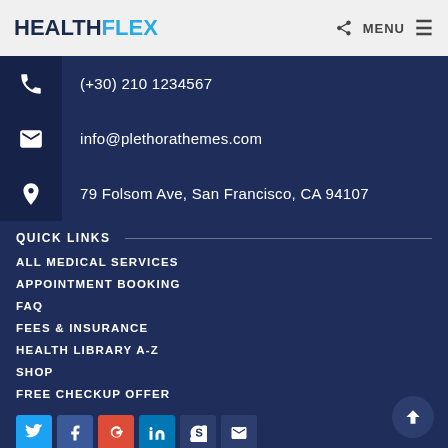HEALTHFLEX | MENU
(+30) 210 1234567
info@plethorathemes.com
79 Folsom Ave, San Francisco, CA 94107
QUICK LINKS
ALL MEDICAL SERVICES
APPOINTMENT BOOKING
FAQ
FEES & INSURANCE
HEALTH LIBRARY A-Z
SHOP
FREE CHECKUP OFFER